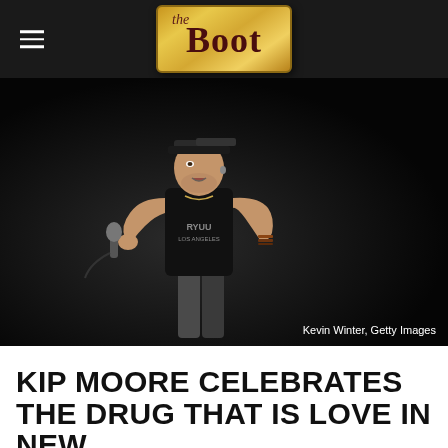the Boot
[Figure (photo): Kip Moore performing on stage, holding a microphone, wearing a black sleeveless shirt and baseball cap, with stage lights and smoke in the background. Photo credit: Kevin Winter, Getty Images]
Kevin Winter, Getty Images
KIP MOORE CELEBRATES THE DRUG THAT IS LOVE IN NEW